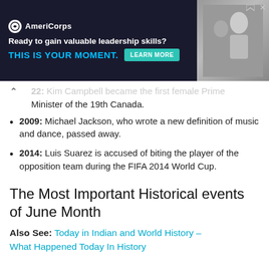[Figure (other): AmeriCorps advertisement banner: 'Ready to gain valuable leadership skills? THIS IS YOUR MOMENT.' with a Learn More button and a photo of people on the right.]
…Kim Campbell became the first female Prime Minister of the 19th Canada.
2009: Michael Jackson, who wrote a new definition of music and dance, passed away.
2014: Luis Suarez is accused of biting the player of the opposition team during the FIFA 2014 World Cup.
The Most Important Historical events of June Month
Also See: Today in Indian and World History – What Happened Today In History